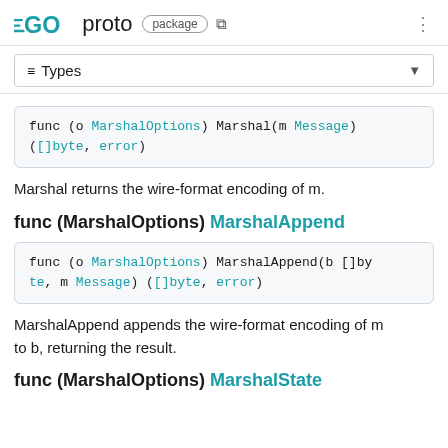GO proto package
≡ Types
[Figure (screenshot): Code block showing: func (o MarshalOptions) Marshal(m Message) ([]byte, error)]
Marshal returns the wire-format encoding of m.
func (MarshalOptions) MarshalAppend
[Figure (screenshot): Code block showing: func (o MarshalOptions) MarshalAppend(b []byte, m Message) ([]byte, error)]
MarshalAppend appends the wire-format encoding of m to b, returning the result.
func (MarshalOptions) MarshalState